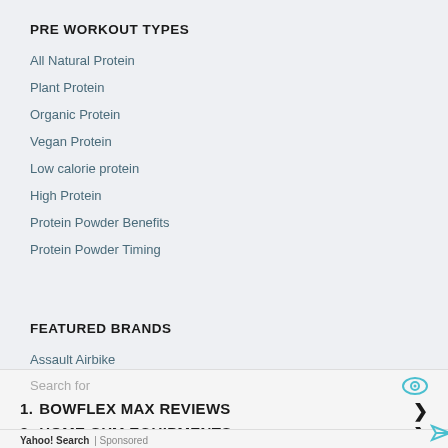PRE WORKOUT TYPES
All Natural Protein
Plant Protein
Organic Protein
Vegan Protein
Low calorie protein
High Protein
Protein Powder Benefits
Protein Powder Timing
FEATURED BRANDS
Assault Airbike
Assault Elite
Body Champ
BodyBoss
Search for
1. BOWFLEX MAX REVIEWS
2. HOME GYM EQUIPMENTS
Yahoo! Search | Sponsored